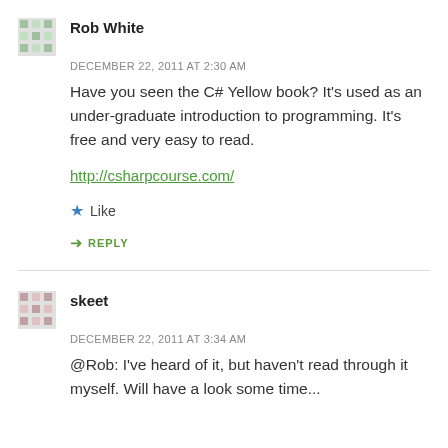Rob White
DECEMBER 22, 2011 AT 2:30 AM
Have you seen the C# Yellow book? It's used as an under-graduate introduction to programming. It's free and very easy to read.
http://csharpcourse.com/
Like
REPLY
skeet
DECEMBER 22, 2011 AT 3:34 AM
@Rob: I've heard of it, but haven't read through it myself. Will have a look some time...